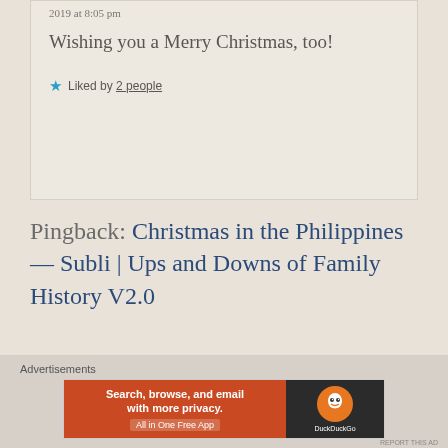2019 at 8:05 pm
Wishing you a Merry Christmas, too!
★ Liked by 2 people
Pingback: Christmas in the Philippines — Subli | Ups and Downs of Family History V2.0
Advertisements
[Figure (other): DuckDuckGo advertisement banner: orange left side with text 'Search, browse, and email with more privacy. All in One Free App', dark right side with DuckDuckGo duck logo]